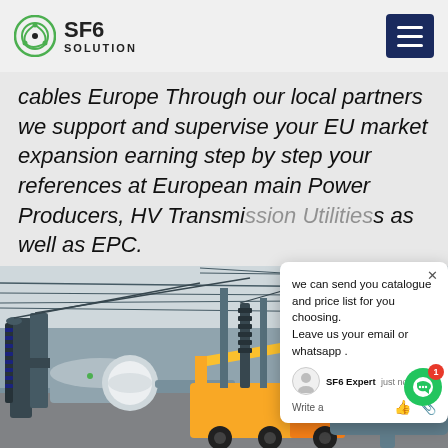SF6 SOLUTION
cables Europe Through our local partners we support and supervise your EU market expansion earning step by step your references at European main Power Producers, HV Transmission Utilities as well as EPC.
[Figure (photo): High-voltage electrical substation with transformers, insulators, overhead power lines, and a yellow utility truck parked in the foreground. Workers visible near the equipment.]
we can send you catalogue and price list for you choosing. Leave us your email or whatsapp .
SF6 Expert   just now
Write a